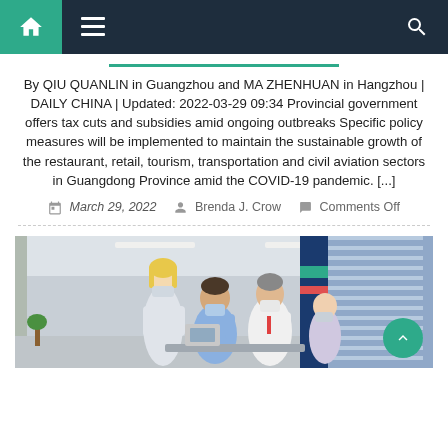Navigation bar with home, menu, and search icons
By QIU QUANLIN in Guangzhou and MA ZHENHUAN in Hangzhou | DAILY CHINA | Updated: 2022-03-29 09:34 Provincial government offers tax cuts and subsidies amid ongoing outbreaks Specific policy measures will be implemented to maintain the sustainable growth of the restaurant, retail, tourism, transportation and civil aviation sectors in Guangdong Province amid the COVID-19 pandemic. [...]
March 29, 2022   Brenda J. Crow   Comments Off
[Figure (photo): People wearing masks in a healthcare or office setting, with large windows and blue dividers in the background]